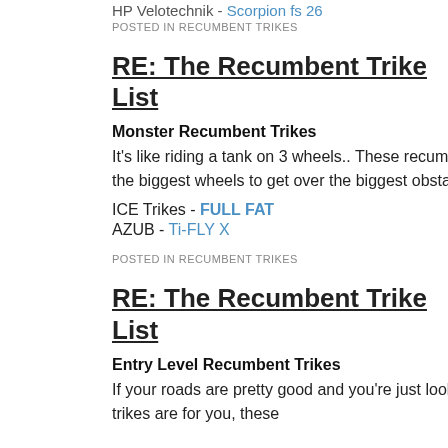HP Velotechnik - Scorpion fs 26
POSTED IN RECUMBENT TRIKES
RE: The Recumbent Trike List
Monster Recumbent Trikes
It's like riding a tank on 3 wheels.. These recumbent trikes have room for the biggest wheels to get over the biggest obstacles
ICE Trikes - FULL FAT
AZUB - Ti-FLY X
POSTED IN RECUMBENT TRIKES
ANT
DEC 11, 2019, 4:15 AM
RE: The Recumbent Trike List
Entry Level Recumbent Trikes
If your roads are pretty good and you're just looking to see if recumbent trikes are for you, these